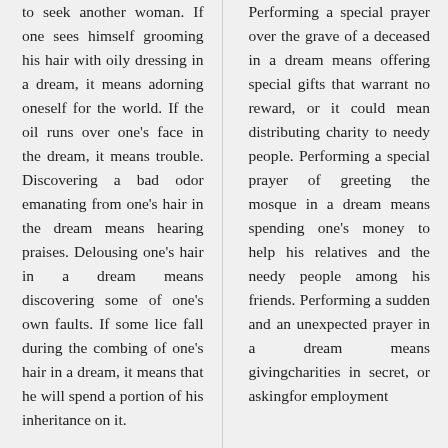to seek another woman. If one sees himself grooming his hair with oily dressing in a dream, it means adorning oneself for the world. If the oil runs over one's face in the dream, it means trouble. Discovering a bad odor emanating from one's hair in the dream means hearing praises. Delousing one's hair in a dream means discovering some of one's own faults. If some lice fall during the combing of one's hair in a dream, it means that he will spend a portion of his inheritance on it.
Performing a special prayer over the grave of a deceased in a dream means offering special gifts that warrant no reward, or it could mean distributing charity to needy people. Performing a special prayer of greeting the mosque in a dream means spending one's money to help his relatives and the needy people among his friends. Performing a sudden and an unexpected prayer in a dream means givingcharities in secret, or askingfor employment